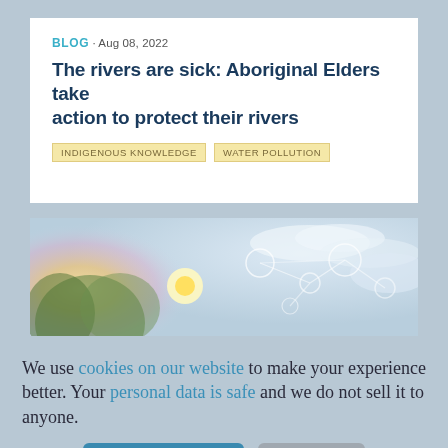BLOG · Aug 08, 2022
The rivers are sick: Aboriginal Elders take action to protect their rivers
INDIGENOUS KNOWLEDGE   WATER POLLUTION
[Figure (photo): Banner image showing blurred nature scene with warm sunlight through trees on left and molecular/network diagram overlay on right against a light blue sky background]
We use cookies on our website to make your experience better. Your personal data is safe and we do not sell it to anyone.
Accept cookies   Decline